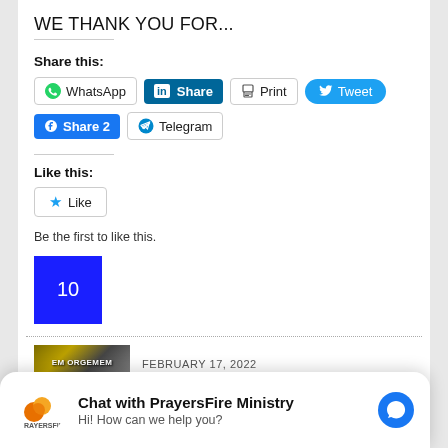WE THANK YOU FOR...
Share this:
[Figure (screenshot): Row of social sharing buttons: WhatsApp, LinkedIn Share, Print, Tweet]
[Figure (screenshot): Row of social sharing buttons: Facebook Share 2, Telegram]
Like this:
[Figure (screenshot): Like button with star icon]
Be the first to like this.
[Figure (other): Blue square with number 10]
FEBRUARY 17, 2022
Chat with PrayersFire Ministry
Hi! How can we help you?